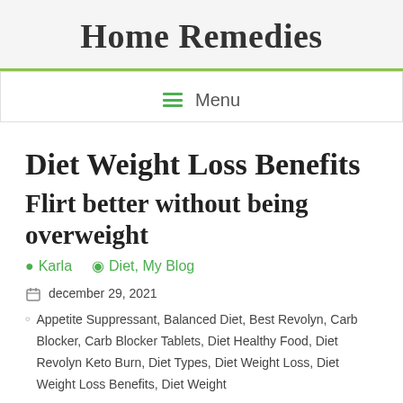Home Remedies
Menu
Diet Weight Loss Benefits
Flirt better without being overweight
Karla   Diet, My Blog
december 29, 2021   Appetite Suppressant, Balanced Diet, Best Revolyn, Carb Blocker, Carb Blocker Tablets, Diet Healthy Food, Diet Revolyn Keto Burn, Diet Types, Diet Weight Loss, Diet Weight Loss Benefits, Diet Weight